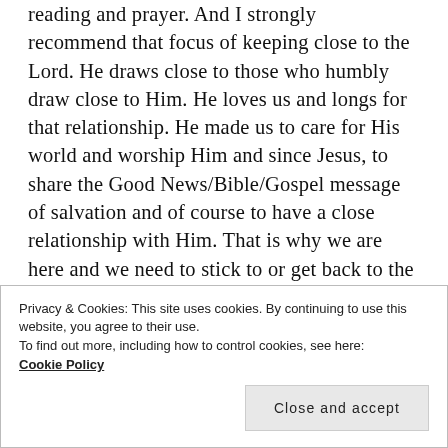reading and prayer. And I strongly recommend that focus of keeping close to the Lord. He draws close to those who humbly draw close to Him. He loves us and longs for that relationship. He made us to care for His world and worship Him and since Jesus, to share the Good News/Bible/Gospel message of salvation and of course to have a close relationship with Him. That is why we are here and we need to stick to or get back to the program. Then, no matter how wild the ride we have this year, we are secure in Him and always peaceful and joyful and loved/loving. We must trust that God is always good
Privacy & Cookies: This site uses cookies. By continuing to use this website, you agree to their use.
To find out more, including how to control cookies, see here:
Cookie Policy
Close and accept